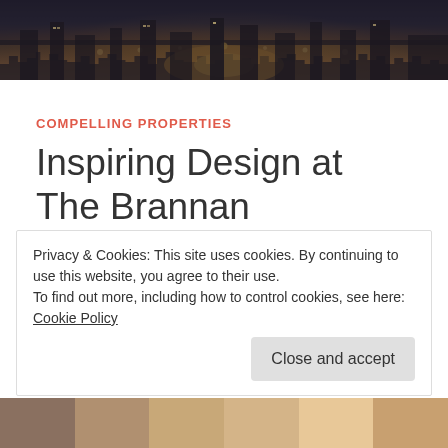[Figure (photo): Aerial/overhead night photo of a city street with glowing lights, buildings visible]
COMPELLING PROPERTIES
Inspiring Design at The Brannan
May 31, 2019 by lesliebauersf
Privacy & Cookies: This site uses cookies. By continuing to use this website, you agree to their use.
To find out more, including how to control cookies, see here: Cookie Policy
[Figure (photo): Interior photos at the bottom of the page, partially visible]